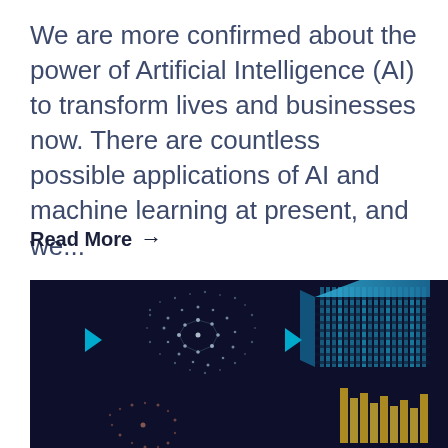We are more confirmed about the power of Artificial Intelligence (AI) to transform lives and businesses now. There are countless possible applications of AI and machine learning at present, and we...
Read More →
[Figure (illustration): Dark navy background illustration showing glowing blue 3D geometric mesh/hexagonal structures and a layered rectangular data structure, with small cyan/blue triangle arrows, representing AI and machine learning concepts.]